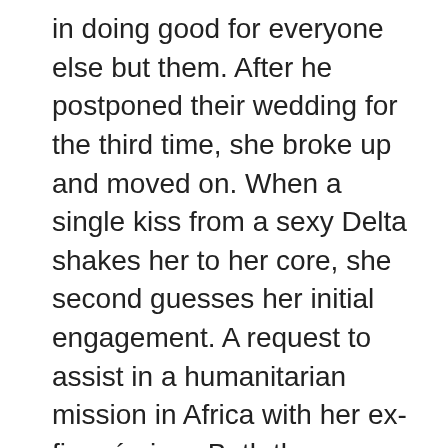in doing good for everyone else but them. After he postponed their wedding for the third time, she broke up and moved on. When a single kiss from a sexy Delta shakes her to her core, she second guesses her initial engagement. A request to assist in a humanitarian mission in Africa with her ex-fiancé gives Beth the opportunity to determine if dumping him was the right decision, or if what she feels for the Delta might just be the heat she'd been yearning for.
When Beth is kidnapped, Dawg and his fellow Deltas are given the mission to extract the kidnapped medical staff and return them to